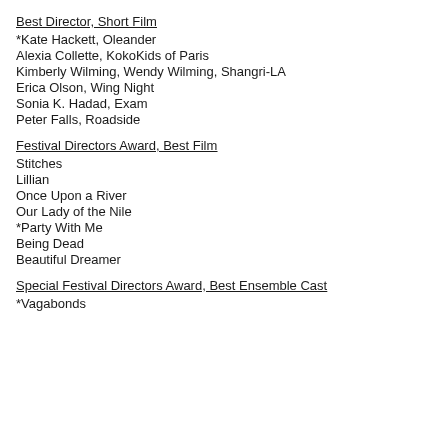Best Director, Short Film
*Kate Hackett, Oleander
Alexia Collette, KokoKids of Paris
Kimberly Wilming, Wendy Wilming, Shangri-LA
Erica Olson, Wing Night
Sonia K. Hadad, Exam
Peter Falls, Roadside
Festival Directors Award, Best Film
Stitches
Lillian
Once Upon a River
Our Lady of the Nile
*Party With Me
Being Dead
Beautiful Dreamer
Special Festival Directors Award, Best Ensemble Cast
*Vagabonds